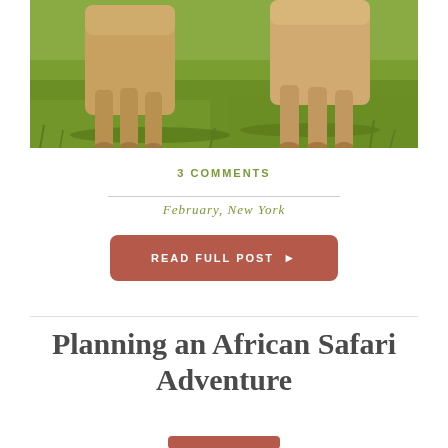[Figure (photo): Close-up photo of lions or large wildcats on green savanna grass, sunlit scene with shadows on the ground]
3 COMMENTS
February, New York
READ FULL POST ▶
Planning an African Safari Adventure